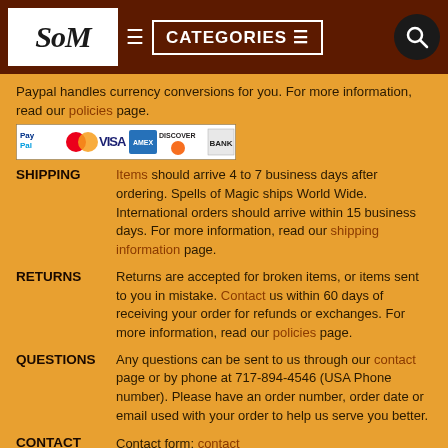SoM | CATEGORIES
Paypal handles currency conversions for you. For more information, read our policies page.
[Figure (other): Payment method logos: PayPal, MasterCard, VISA, American Express, Discover, BANK]
SHIPPING  Items should arrive 4 to 7 business days after ordering. Spells of Magic ships World Wide. International orders should arrive within 15 business days. For more information, read our shipping information page.
RETURNS  Returns are accepted for broken items, or items sent to you in mistake. Contact us within 60 days of receiving your order for refunds or exchanges. For more information, read our policies page.
QUESTIONS  Any questions can be sent to us through our contact page or by phone at 717-894-4546 (USA Phone number). Please have an order number, order date or email used with your order to help us serve you better.
CONTACT  Contact form: contact
Email: spellsofmagic@hotmail.com
Phone at 717-894-4546 (USA Phone number)
If you are contacting us about an order, please have an order